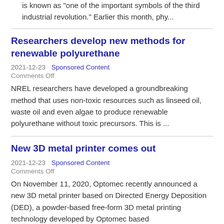is known as "one of the important symbols of the third industrial revolution." Earlier this month, phy...
Researchers develop new methods for renewable polyurethane
2021-12-23   Sponsored Content
Comments Off
NREL researchers have developed a groundbreaking method that uses non-toxic resources such as linseed oil, waste oil and even algae to produce renewable polyurethane without toxic precursors. This is ...
New 3D metal printer comes out
2021-12-23   Sponsored Content
Comments Off
On November 11, 2020, Optomec recently announced a new 3D metal printer based on Directed Energy Deposition (DED), a powder-based free-form 3D metal printing technology developed by Optomec based